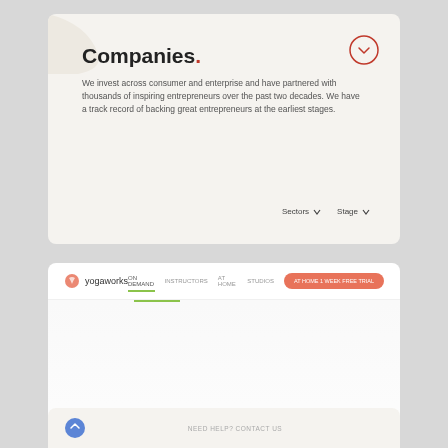Companies.
We invest across consumer and enterprise and have partnered with thousands of inspiring entrepreneurs over the past two decades. We have a track record of backing great entrepreneurs at the earliest stages.
[Figure (screenshot): YogaWorks website screenshot showing navigation bar with logo, nav links, and a hero section with text '25+ daily live stream classes and 1,300+ on-demand classes' and a START FREE TRIAL button]
NEED HELP? CONTACT US